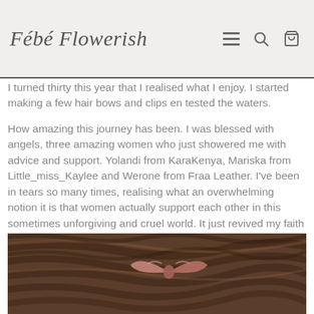Fébé Flowerish
I turned thirty this year that I realised what I enjoy. I started making a few hair bows and clips en tested the waters.
How amazing this journey has been. I was blessed with angels, three amazing women who just showered me with advice and support. Yolandi from KaraKenya, Mariska from Little_miss_Kaylee and Werone from Fraa Leather. I've been in tears so many times, realising what an overwhelming notion it is that women actually support each other in this sometimes unforgiving and cruel world. It just revived my faith in people, and that we all deserve our spot in the sun.I will never be able to thank those women enough!
[Figure (photo): Close-up photo of dark brown hair with a pink/mauve leather or fabric bow hair clip accessory]